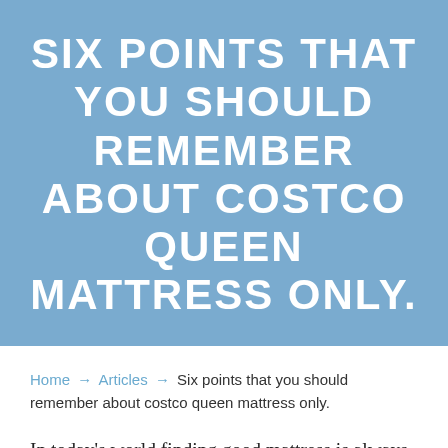SIX POINTS THAT YOU SHOULD REMEMBER ABOUT COSTCO QUEEN MATTRESS ONLY.
Home → Articles → Six points that you should remember about costco queen mattress only.
In today's world finding good mattress is always a challenge. When you are ready to take your data into your own hands and peculiarly run your own blog, it's time to choose a good web host that can put it all on the web for you, give you